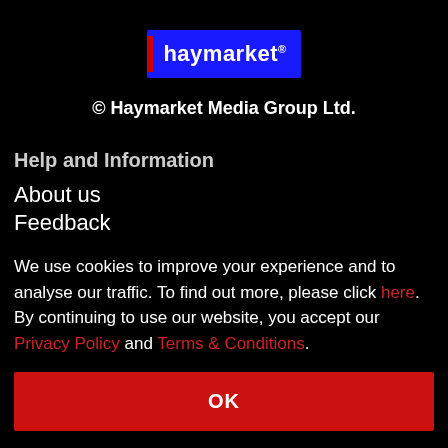[Figure (logo): Haymarket logo: dark blue/purple rectangle with red vertical bar on left and white text 'haymarket' with trademark symbol]
© Haymarket Media Group Ltd.
Help and Information
About us
Feedback
We use cookies to improve your experience and to analyse our traffic. To find out more, please click here. By continuing to use our website, you accept our Privacy Policy and Terms & Conditions.
OK
Network